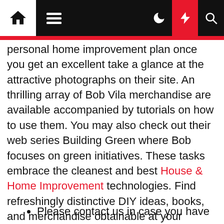Navigation bar with home, menu, moon, bolt, and search icons
personal home improvement plan once you get an excellent take a glance at the attractive photographs on their site. An thrilling array of Bob Vila merchandise are available accompanied by tutorials on how to use them. You may also check out their web series Building Green where Bob focuses on green initiatives. These tasks embrace the cleanest and best House & Home Improvement technologies. Find refreshingly distinctive DIY ideas, books, and merchandise obtainable at your closest Target and Home Depot shops. Discover Podcasts you can hearken to if you are constantly on the transfer. Popular home improvement websites embrace concepts to make your kids room an entire lot of enjoyable, the pros and cons of installing an irrigation system and plenty extra.
Please contact us in case you have any